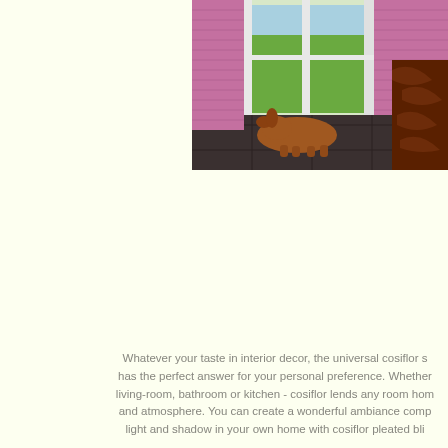[Figure (photo): Interior room photo showing a dog lying on a tiled floor near a sliding glass door with pink/mauve pleated blinds, green garden visible outside, and a patterned sofa on the right side.]
Whatever your taste in interior decor, the universal cosiflor s has the perfect answer for your personal preference. Whether living-room, bathroom or kitchen - cosiflor lends any room hom and atmosphere. You can create a wonderful ambiance comp light and shadow in your own home with cosiflor pleated bli